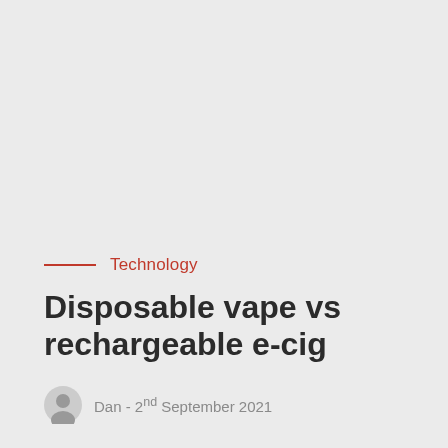[Figure (other): Large light grey background area occupying the upper portion of the page]
Technology
Disposable vape vs rechargeable e-cig
Dan - 2nd September 2021